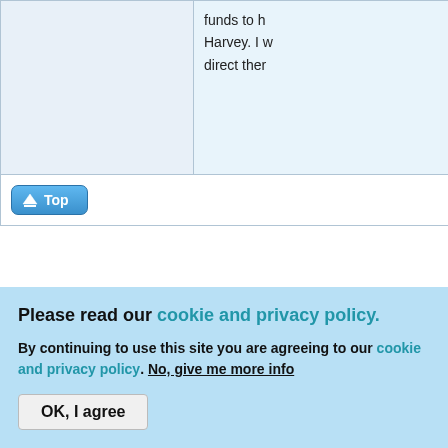[Figure (screenshot): Forum post fragment showing top cell with light blue background and partially visible text about funds, Harvey]
[Figure (screenshot): Top button with arrow icon and 'Top' label in blue]
Mon, 11/20/2017 - 12:00
DB Custom
[Figure (illustration): Avatar image showing swans with warm orange/brown background]
Offline
How do yo of it? You p getting to t need help 4 man tea flashlights had a lot o long week
Please read our cookie and privacy policy.
By continuing to use this site you are agreeing to our cookie and privacy policy. No, give me more info
OK, I agree